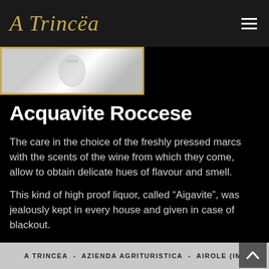A Trincëa
[Figure (photo): A glass or bottle of spirits/liquor, partially visible, light-colored background]
Acquavite Roccese
The care in the choice of the freshly pressed marcs with the scents of the wine from which they come, allow to obtain delicate hues of flavour and smell.
This kind of high proof liquor, called “Aigavite”, was jealously kept in every house and given in case of blackout.
A TRINCEA - AZIENDA AGRITURISTICA - AIROLE (IM)